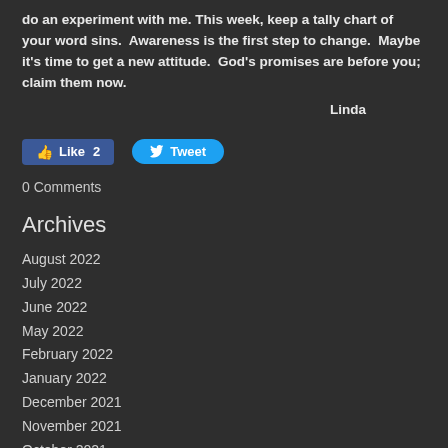do an experiment with me. This week, keep a tally chart of your word sins.  Awareness is the first step to change.  Maybe it’s time to get a new attitude.  God’s promises are before you; claim them now.
Linda
[Figure (other): Facebook Like button showing count 2, and Twitter Tweet button]
0 Comments
Archives
August 2022
July 2022
June 2022
May 2022
February 2022
January 2022
December 2021
November 2021
October 2021